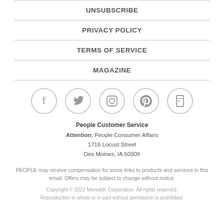UNSUBSCRIBE
PRIVACY POLICY
TERMS OF SERVICE
MAGAZINE
[Figure (infographic): Row of 5 social media icons in gray circles: Facebook, Twitter, Instagram, Pinterest, and one additional icon]
People Customer Service
Attention: People Consumer Affairs
1716 Locust Street
Des Moines, IA 50309
PEOPLE may receive compensation for some links to products and services in this email. Offers may be subject to change without notice.
Copyright © 2022 Meredith Corporation. All rights reserved. Reproduction in whole or in part without permission is prohibited.